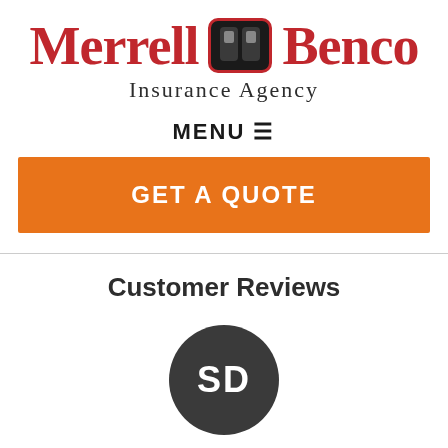[Figure (logo): Merrell Benco Insurance Agency logo with stylized 'mb' icon in a rounded rectangle, red serif text for company name and dark text for Insurance Agency subtitle]
MENU ☰
GET A QUOTE
Customer Reviews
[Figure (illustration): Dark grey circular avatar with white initials 'SD']